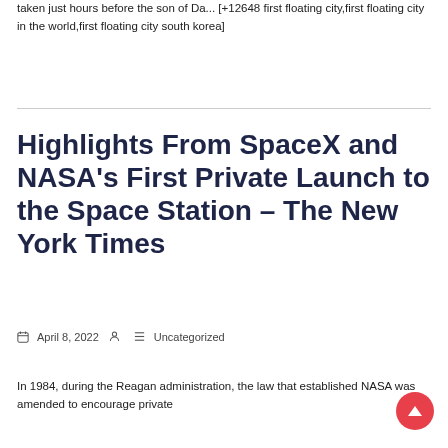taken just hours before the son of Da... [+12648 first floating city,first floating city in the world,first floating city south korea]
Highlights From SpaceX and NASA's First Private Launch to the Space Station – The New York Times
April 8, 2022  Uncategorized
In 1984, during the Reagan administration, the law that established NASA was amended to encourage private